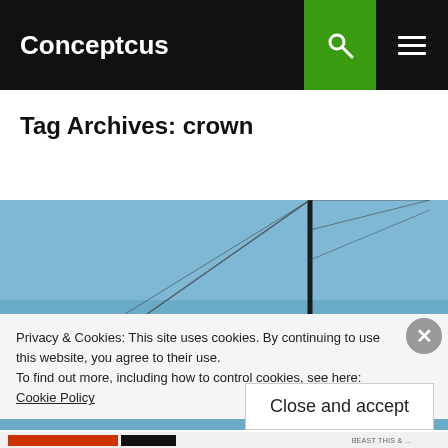Conceptcus
Tag Archives: crown
[Figure (photo): Aerial/side view of a modern sailing yacht on calm blue water, showing the wooden deck, dark mast, rigging lines, and cockpit detail.]
Privacy & Cookies: This site uses cookies. By continuing to use this website, you agree to their use.
To find out more, including how to control cookies, see here: Cookie Policy
Close and accept